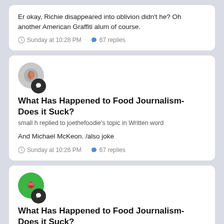Er okay, Richie disappeared into oblivion didn't he? Oh another American Graffiti alum of course.
Sunday at 10:28 PM   67 replies
What Has Happened to Food Journalism- Does it Suck?
small h replied to joethefoodie's topic in Written word
And Michael McKeon. /also joke
Sunday at 10:26 PM   67 replies
What Has Happened to Food Journalism- Does it Suck?